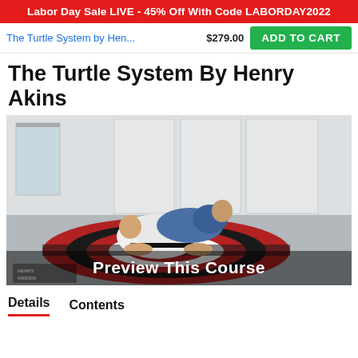Labor Day Sale LIVE - 45% Off With Code LABORDAY2022
The Turtle System by Hen...  $279.00  ADD TO CART
The Turtle System By Henry Akins
[Figure (photo): Two BJJ practitioners on a dojang mat with a red and black circle logo. One in white gi with black belt, the other in blue gi. Text overlay: Preview This Course. Logo: Henry Hidden Jiu Jitsu in bottom-left corner.]
Details   Contents